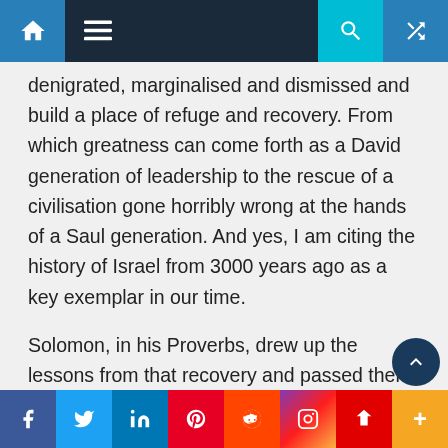Navigation bar with home, menu, search, and shuffle icons
denigrated, marginalised and dismissed and build a place of refuge and recovery. From which greatness can come forth as a David generation of leadership to the rescue of a civilisation gone horribly wrong at the hands of a Saul generation. And yes, I am citing the history of Israel from 3000 years ago as a key exemplar in our time.
Solomon, in his Proverbs, drew up the lessons from that recovery and passed them on to all times, as a collection of gems of wisdom.
Right in the middle of the scriptures that our oh so sophisticated atheistical elites would banish from
f  Twitter  in  Pinterest  Reddit  Instagram  Flipboard  +